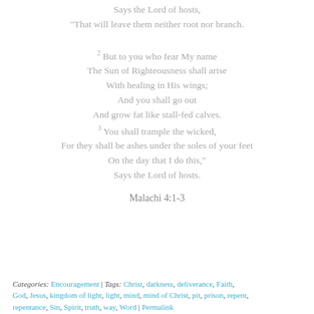Says the Lord of hosts,
“That will leave them neither root nor branch.
2 But to you who fear My name
The Sun of Righteousness shall arise
With healing in His wings;
And you shall go out
And grow fat like stall-fed calves.
3 You shall trample the wicked,
For they shall be ashes under the soles of your feet
On the day that I do this,”
Says the Lord of hosts.
Malachi 4:1-3
Categories: Encouragement | Tags: Christ, darkness, deliverance, Faith, God, Jesus, kingdom of light, light, mind, mind of Christ, pit, prison, repent, repentance, Sin, Spirit, truth, way, Word | Permalink